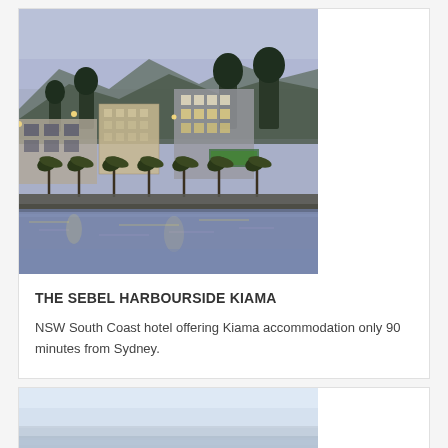[Figure (photo): Twilight/dusk exterior photo of The Sebel Harbourside Kiama hotel showing waterfront buildings with warm lights reflected in the harbour water, palm trees, mountains in background]
THE SEBEL HARBOURSIDE KIAMA
NSW South Coast hotel offering Kiama accommodation only 90 minutes from Sydney.
[Figure (photo): Partial photo of coastal/water scene at dusk or dawn showing calm water with soft light sky — bottom of page, cropped]